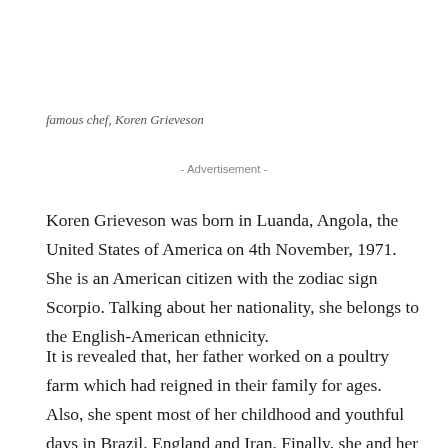famous chef, Koren Grieveson
- Advertisement -
Koren Grieveson was born in Luanda, Angola, the United States of America on 4th November, 1971. She is an American citizen with the zodiac sign Scorpio. Talking about her nationality, she belongs to the English-American ethnicity.
It is revealed that, her father worked on a poultry farm which had reigned in their family for ages. Also, she spent most of her childhood and youthful days in Brazil, England and Iran. Finally, she and her family settled in Glastonbury, Connecticut, United States of America.